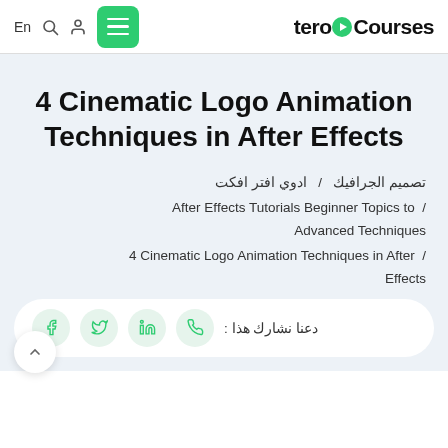En  [search] [user]  [menu]  teroCourses
4 Cinematic Logo Animation Techniques in After Effects
تصميم الجرافيك  /  ادوي افتر افكت
After Effects Tutorials Beginner Topics to  /  Advanced Techniques
4 Cinematic Logo Animation Techniques in After  /  Effects
دعنا نشارك هذا :  [whatsapp] [linkedin] [twitter] [facebook]